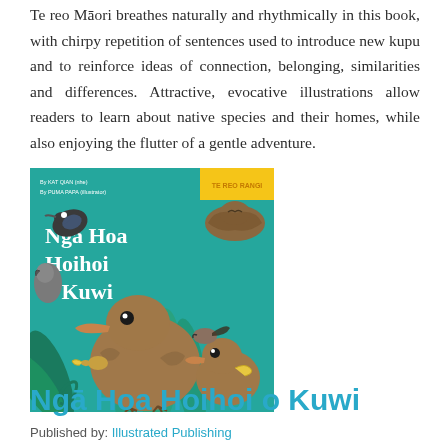Te reo Māori breathes naturally and rhythmically in this book, with chirpy repetition of sentences used to introduce new kupu and to reinforce ideas of connection, belonging, similarities and differences. Attractive, evocative illustrations allow readers to learn about native species and their homes, while also enjoying the flutter of a gentle adventure.
[Figure (illustration): Book cover of 'Ngā Hoa Hoihoi o Kuwi' showing illustrated kiwi birds on a teal/green background with native New Zealand forest elements]
Ngā Hoa Hoihoi o Kuwi
Published by: Illustrated Publishing